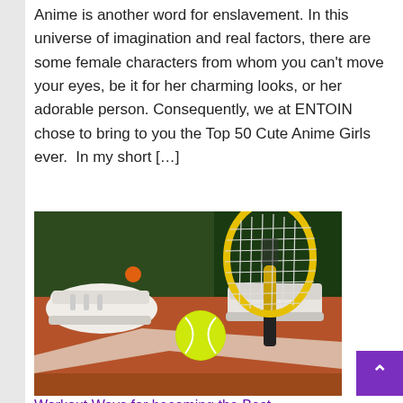Anime is another word for enslavement. In this universe of imagination and real factors, there are some female characters from whom you can't move your eyes, be it for her charming looks, or her adorable person. Consequently, we at ENTOIN chose to bring to you the Top 50 Cute Anime Girls ever.  In my short […]
[Figure (photo): Close-up photo of a yellow tennis racket and a yellow-green tennis ball on a clay court, with white tennis shoes visible in the background.]
Workout Ways for becoming the Best...